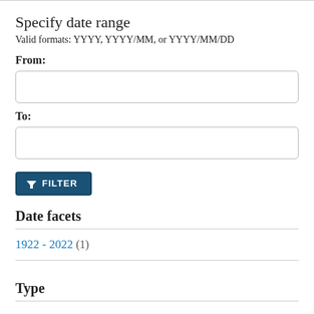Specify date range
Valid formats: YYYY, YYYY/MM, or YYYY/MM/DD
From:
To:
[Figure (other): FILTER button with funnel icon]
Date facets
1922 - 2022 (1)
Type